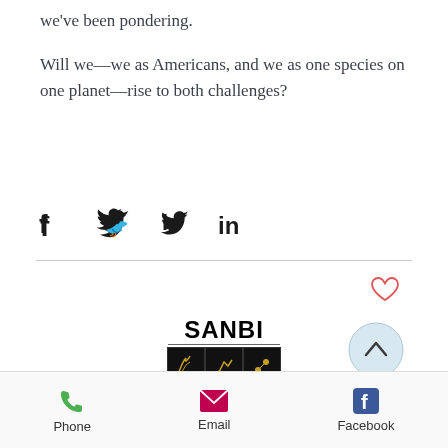we've been pondering.
Will we—we as Americans, and we as one species on one planet—rise to both challenges?
[Figure (infographic): Social media sharing icons: Facebook (f), Twitter (bird), LinkedIn (in)]
[Figure (logo): SANBI - Biodiversity for Life logo with three dark image boxes]
[Figure (infographic): Scroll-up button: circle with upward chevron]
[Figure (logo): TAT logo in purple letters]
Phone   Email   Facebook